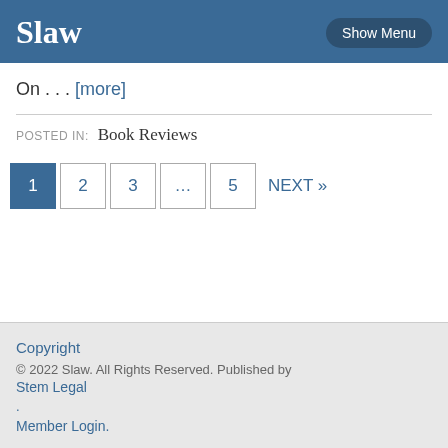Slaw  Show Menu
On . . . [more]
POSTED IN:  Book Reviews
1  2  3  ...  5  NEXT »
Copyright
© 2022 Slaw. All Rights Reserved. Published by
Stem Legal
.
Member Login.